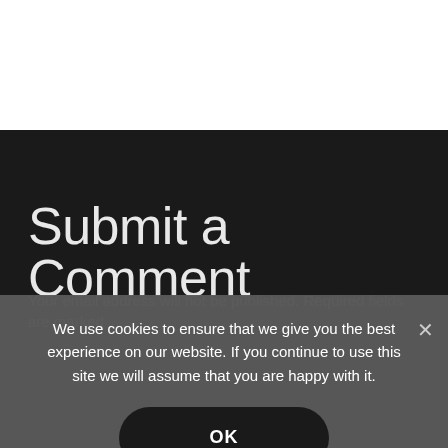Submit a Comment
Your email address will not be published. Required fields are marked
We use cookies to ensure that we give you the best experience on our website. If you continue to use this site we will assume that you are happy with it.
OK